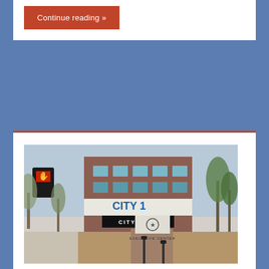Continue reading »
[Figure (photo): Street view photo of City 1 City Hall Executive Center building with a pedestrian walkway, trees, and a traffic signal in the foreground]
"Justicia Fronteriza Denounces Extension of Tommy Gonzalez' Contract"
2022-05-18  Rich Wright  City Council, Slider, Tommy Gonzalez  3 comments